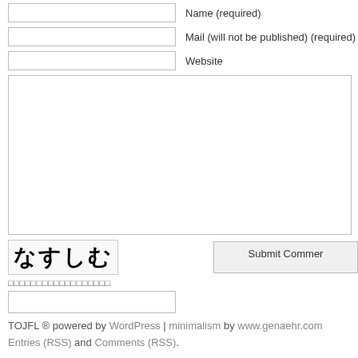Name (required)
Mail (will not be published) (required)
Website
[Figure (other): Large comment textarea input box]
[Figure (other): CAPTCHA image showing Japanese characters: なすしむ]
Submit Comment button
CAPTCHA prompt in Japanese characters
CAPTCHA input field
TOJFL ® powered by WordPress | minimalism by www.genaehr.com Entries (RSS) and Comments (RSS).